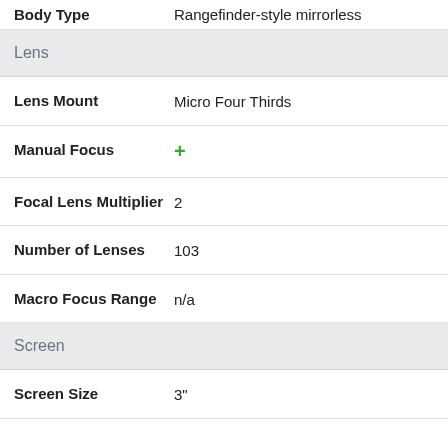| Property | Value |
| --- | --- |
| Body Type | Rangefinder-style mirrorless |
| Lens |  |
| Lens Mount | Micro Four Thirds |
| Manual Focus | + |
| Focal Lens Multiplier | 2 |
| Number of Lenses | 103 |
| Macro Focus Range | n/a |
| Screen |  |
| Screen Size | 3" |